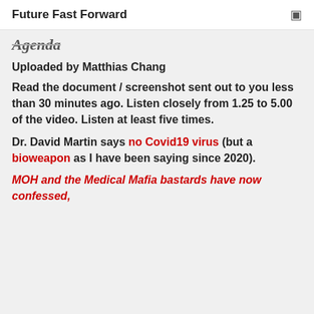Future Fast Forward
Agenda
Uploaded by Matthias Chang
Read the document / screenshot sent out to you less than 30 minutes ago. Listen closely from 1.25 to 5.00 of the video. Listen at least five times.
Dr. David Martin says no Covid19 virus (but a bioweapon as I have been saying since 2020).
MOH and the Medical Mafia bastards have now confessed,